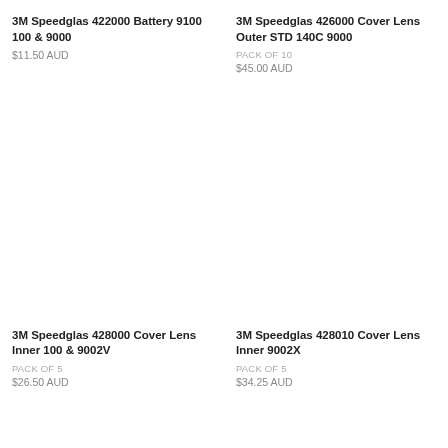3M Speedglas 422000 Battery 9100 100 & 9000
$11.50 AUD
3M Speedglas 426000 Cover Lens Outer STD 140C 9000
PACK OF 10
$45.00 AUD
3M Speedglas 428000 Cover Lens Inner 100 & 9002V
PACK OF 5
$26.50 AUD
3M Speedglas 428010 Cover Lens Inner 9002X
PACK OF 5
$34.25 AUD